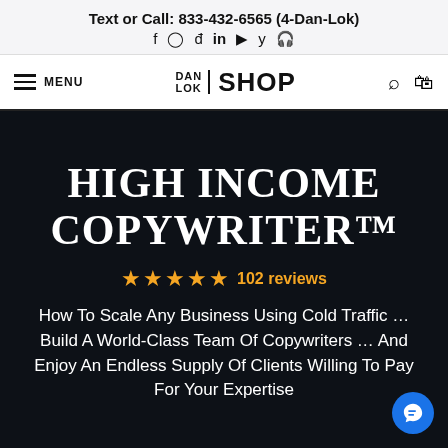Text or Call: 833-432-6565 (4-Dan-Lok)
[Figure (logo): DAN LOK SHOP logo with hamburger menu, search and cart icons]
HIGH INCOME COPYWRITER™
★★★★★ 102 reviews
How To Scale Any Business Using Cold Traffic ... Build A World-Class Team Of Copywriters ... And Enjoy An Endless Supply Of Clients Willing To Pay For Your Expertise